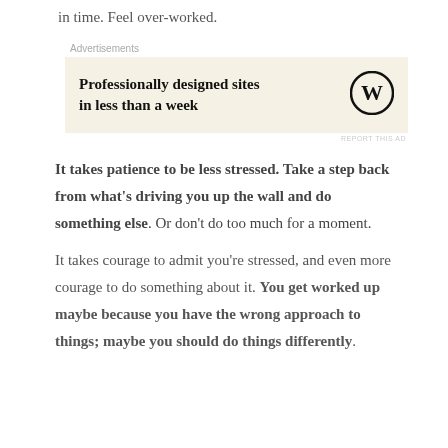in time. Feel over-worked.
[Figure (other): Advertisement box for WordPress with text 'Professionally designed sites in less than a week' and WordPress logo, on a beige background]
It takes patience to be less stressed. Take a step back from what's driving you up the wall and do something else. Or don't do too much for a moment.
It takes courage to admit you're stressed, and even more courage to do something about it. You get worked up maybe because you have the wrong approach to things; maybe you should do things differently.